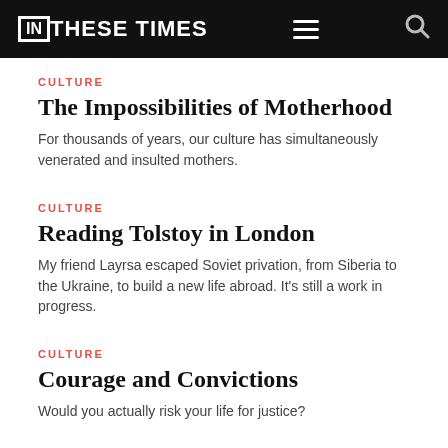IN THESE TIMES
CULTURE
The Impossibilities of Motherhood
For thousands of years, our culture has simultaneously venerated and insulted mothers.
CULTURE
Reading Tolstoy in London
My friend Layrsa escaped Soviet privation, from Siberia to the Ukraine, to build a new life abroad. It's still a work in progress.
CULTURE
Courage and Convictions
Would you actually risk your life for justice?